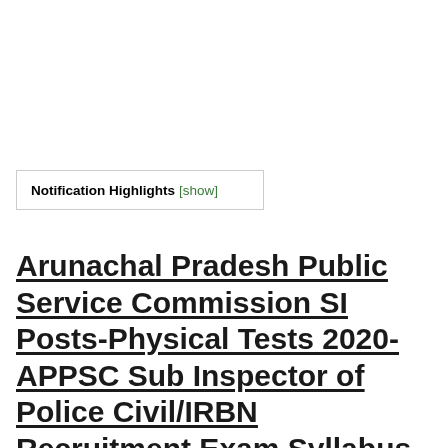Notification Highlights [show]
Arunachal Pradesh Public Service Commission SI Posts-Physical Tests 2020-APPSC Sub Inspector of Police Civil/IRBN Recruitment Exam Syllabus